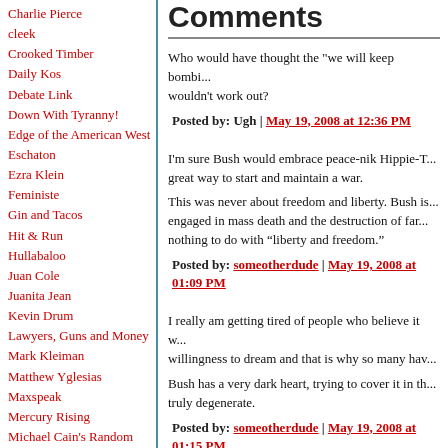Charlie Pierce
cleek
Crooked Timber
Daily Kos
Debate Link
Down With Tyranny!
Edge of the American West
Eschaton
Ezra Klein
Feministe
Gin and Tacos
Hit & Run
Hullabaloo
Juan Cole
Juanita Jean
Kevin Drum
Lawyers, Guns and Money
Mark Kleiman
Matthew Yglesias
Maxspeak
Mercury Rising
Michael Cain's Random
Comments
Who would have thought the "we will keep bombi... wouldn't work out?
Posted by: Ugh | May 19, 2008 at 12:36 PM
I'm sure Bush would embrace peace-nik Hippie-T... great way to start and maintain a war.
This was never about freedom and liberty. Bush is... engaged in mass death and the destruction of far... nothing to do with “liberty and freedom.”
Posted by: someotherdude | May 19, 2008 at 01:09 PM
I really am getting tired of people who believe it w... willingness to dream and that is why so many hav...
Bush has a very dark heart, trying to cover it in th... truly degenerate.
Posted by: someotherdude | May 19, 2008 at 01:15 PM